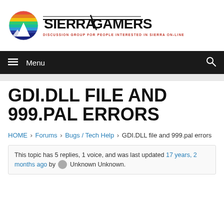[Figure (logo): SierraGamers logo with mountain/sunset graphic and text 'SIERRAGAMERS' and tagline 'DISCUSSION GROUP FOR PEOPLE INTERESTED IN SIERRA ON-LINE']
≡ Menu  🔍
GDI.DLL FILE AND 999.PAL ERRORS
HOME › Forums › Bugs / Tech Help › GDI.DLL file and 999.pal errors
This topic has 5 replies, 1 voice, and was last updated 17 years, 2 months ago by Unknown Unknown.